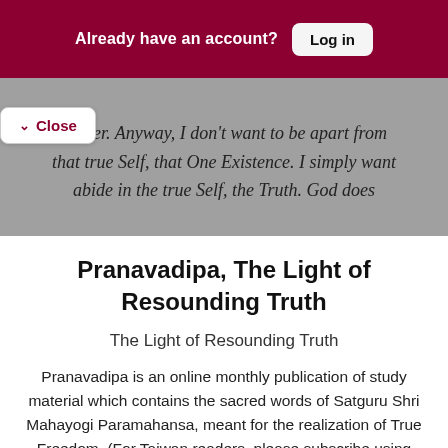Already have an account? Log in
matter. Anyway, I don't want to be apart from that true Self, that One Existence. I simply want abide in the true Self, the Truth. God does
Close
Pranavadipa, The Light of Resounding Truth
The Light of Resounding Truth
Pranavadipa is an online monthly publication of study material which contains the sacred words of Satguru Shri Mahayogi Paramahansa, meant for the realization of True Freedom. (For Taiwan readers, please subscribe using the menu)